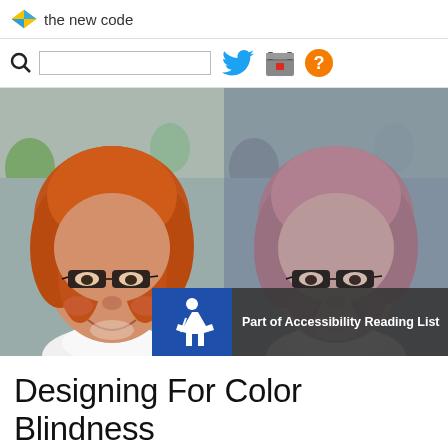the new code
[Figure (screenshot): Navigation bar with search icon, search box, Twitter bird icon, calendar icon, and orange question mark icon]
[Figure (photo): Two side-by-side photos of the same woman with curly hair and glasses smiling. Left photo shows natural orange/red hair color. Right photo shows the same image simulated for color blindness, with hair appearing muted pink/desaturated.]
Part of Accessibility Reading List
Designing For Color Blindness